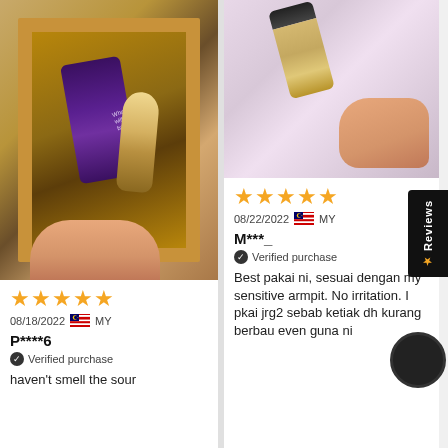[Figure (photo): Photo of a cosmetic product (purple tube and tan deodorant) inside a cardboard gift box, held by a hand with painted nails.]
★★★★★
08/18/2022  MY
P****6
Verified purchase
haven't smell the sour
[Figure (photo): Hand holding a natural deodorant stick against a pink quilted background.]
★★★★★
08/22/2022  MY
M***_
Verified purchase
Best pakai ni, sesuai dengan my sensitive armpit. No irritation. I pkai jrg2 sebab ketiak dh kurang berbau even guna ni